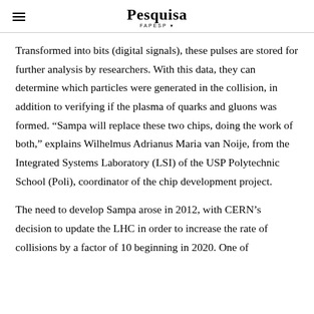Pesquisa FAPESP
Transformed into bits (digital signals), these pulses are stored for further analysis by researchers. With this data, they can determine which particles were generated in the collision, in addition to verifying if the plasma of quarks and gluons was formed. “Sampa will replace these two chips, doing the work of both,” explains Wilhelmus Adrianus Maria van Noije, from the Integrated Systems Laboratory (LSI) of the USP Polytechnic School (Poli), coordinator of the chip development project.
The need to develop Sampa arose in 2012, with CERN’s decision to update the LHC in order to increase the rate of collisions by a factor of 10 beginning in 2020. One of